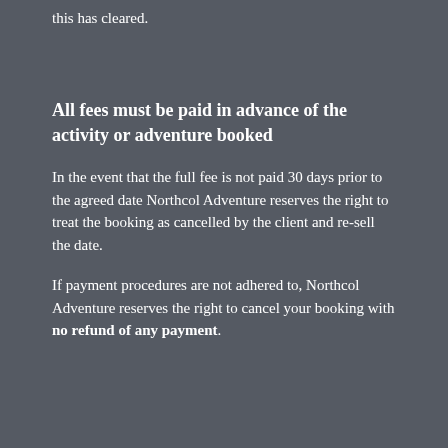this has cleared.
All fees must be paid in advance of the activity or adventure booked
In the event that the full fee is not paid 30 days prior to the agreed date Northcol Adventure reserves the right to treat the booking as cancelled by the client and re-sell the date.
If payment procedures are not adhered to, Northcol Adventure reserves the right to cancel your booking with no refund of any payment.